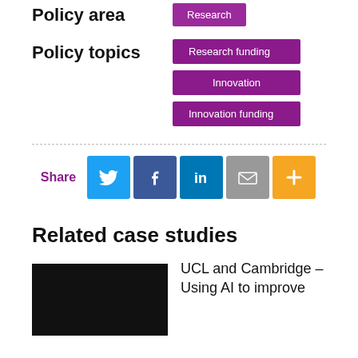Policy area
Research
Policy topics
Research funding
Innovation
Innovation funding
Share
Related case studies
UCL and Cambridge – Using AI to improve